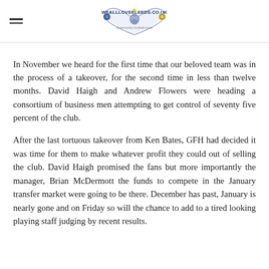WEALLLOVEELEEDS.CO.UK
In November we heard for the first time that our beloved team was in the process of a takeover, for the second time in less than twelve months. David Haigh and Andrew Flowers were heading a consortium of business men attempting to get control of seventy five percent of the club.
After the last tortuous takeover from Ken Bates, GFH had decided it was time for them to make whatever profit they could out of selling the club. David Haigh promised the fans but more importantly the manager, Brian McDermott the funds to compete in the January transfer market were going to be there. December has past, January is nearly gone and on Friday so will the chance to add to a tired looking playing staff judging by recent results.